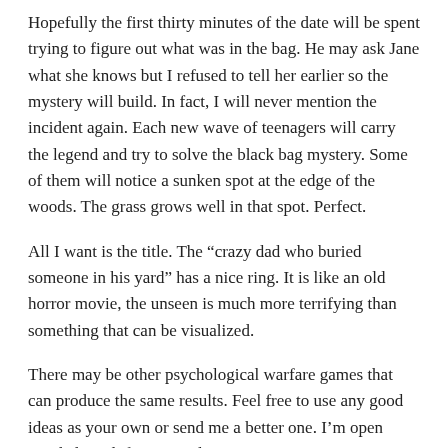Hopefully the first thirty minutes of the date will be spent trying to figure out what was in the bag. He may ask Jane what she knows but I refused to tell her earlier so the mystery will build. In fact, I will never mention the incident again. Each new wave of teenagers will carry the legend and try to solve the black bag mystery. Some of them will notice a sunken spot at the edge of the woods. The grass grows well in that spot. Perfect.
All I want is the title. The “crazy dad who buried someone in his yard” has a nice ring. It is like an old horror movie, the unseen is much more terrifying than something that can be visualized.
There may be other psychological warfare games that can produce the same results. Feel free to use any good ideas as your own or send me a better one. I’m open minded. And if you are planning on protecting your daughter’s virtue through intimidation this post is for you. You’re welcome.
Underdaddy to the rescue.